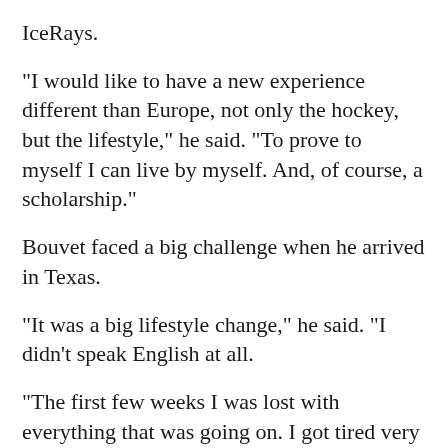IceRays.
“I would like to have a new experience different than Europe, not only the hockey, but the lifestyle,” he said. “To prove to myself I can live by myself. And, of course, a scholarship.”
Bouvet faced a big challenge when he arrived in Texas.
“It was a big lifestyle change,” he said. “I didn’t speak English at all.
“The first few weeks I was lost with everything that was going on. I got tired very quickly.”
Bouvet said he could understand what was being said in a few weeks, and in six to eight months he could speak serviceable English.